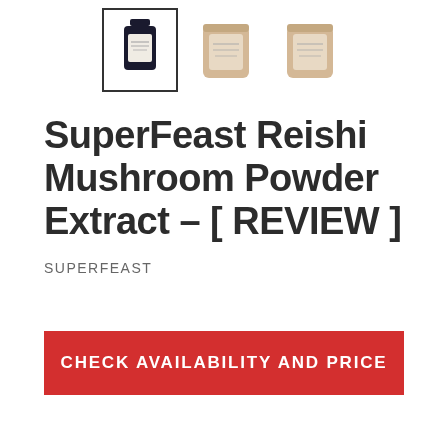[Figure (photo): Three product thumbnail images: a dark glass jar (selected, with border), and two kraft-paper pouches side by side]
SuperFeast Reishi Mushroom Powder Extract - [ REVIEW ]
SUPERFEAST
CHECK AVAILABILITY AND PRICE